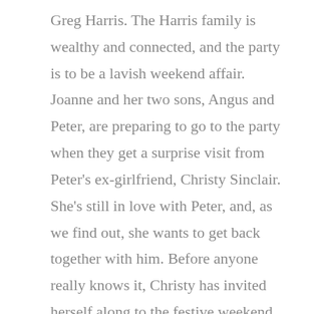Greg Harris. The Harris family is wealthy and connected, and the party is to be a lavish weekend affair. Joanne and her two sons, Angus and Peter, are preparing to go to the party when they get a surprise visit from Peter's ex-girlfriend, Christy Sinclair. She's still in love with Peter, and, as we find out, she wants to get back together with him. Before anyone really knows it, Christy has invited herself along to the festive weekend, and everyone duly arrives. Tragedy strikes, though, when Christy dies of what looks like suicide. It turns out, though, that she was murdered, and that her death is